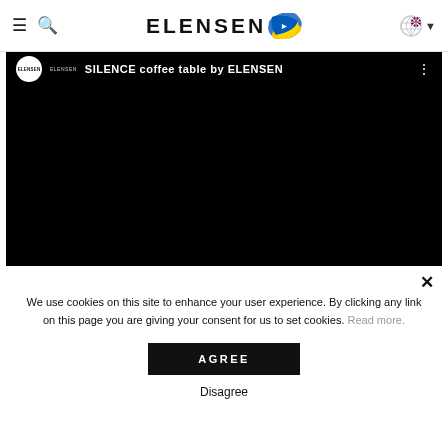ELENSEN
[Figure (screenshot): Video player showing 'SILENCE coffee table by ELENSEN' with black background, ELENSEN channel avatar and title visible at top]
We use cookies on this site to enhance your user experience. By clicking any link on this page you are giving your consent for us to set cookies. Read more.
AGREE
Disagree